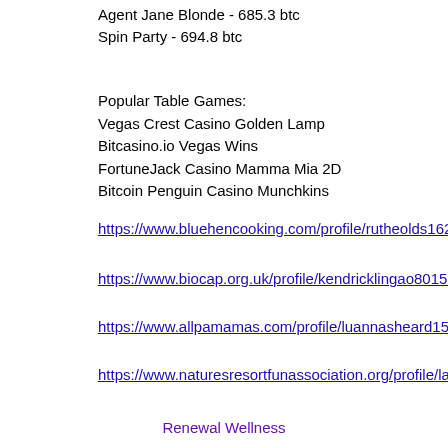Agent Jane Blonde - 685.3 btc
Spin Party - 694.8 btc
Popular Table Games:
Vegas Crest Casino Golden Lamp
Bitcasino.io Vegas Wins
FortuneJack Casino Mamma Mia 2D
Bitcoin Penguin Casino Munchkins
https://www.bluehencooking.com/profile/rutheolds16292217/profile
https://www.biocap.org.uk/profile/kendricklingao8015603/profile
https://www.allpamamas.com/profile/luannasheard15375279/profile
https://www.naturesresortfunassociation.org/profile/latriciadabato4390322/profile
Renewal Wellness